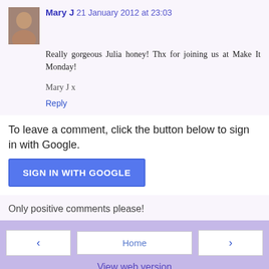Mary J  21 January 2012 at 23:03
Really gorgeous Julia honey! Thx for joining us at Make It Monday!

Mary J x
Reply
To leave a comment, click the button below to sign in with Google.
SIGN IN WITH GOOGLE
Only positive comments please!
‹   Home   ›
View web version
Powered by Blogger.